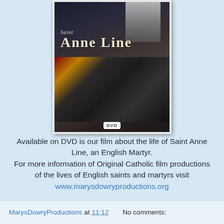[Figure (photo): DVD cover for 'Saint Anne Line' film showing medieval costumed figures against a stone wall background, with DVD logo at bottom]
Available on DVD is our film about the life of Saint Anne Line, an English Martyr.
For more information of Original Catholic film productions of the lives of English saints and martyrs visit
www.marysdowryproductions.org
MarysDowryProductions at 11:12    No comments: